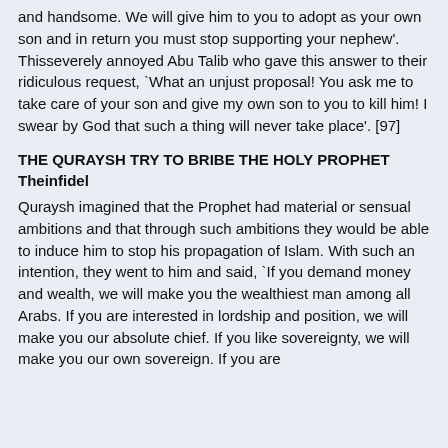and handsome. We will give him to you to adopt as your own son and in return you must stop supporting your nephew'.   Thisseverely annoyed Abu Talib who gave this answer to their ridiculous request, `What an unjust proposal! You ask me to take care of your son and give my own son to you to kill him! I swear by God that such a thing will never take place'. [97]
THE QURAYSH TRY TO BRIBE THE HOLY PROPHET Theinfidel
Quraysh imagined that the Prophet had material or sensual ambitions and that through such ambitions they would be able to induce him to stop his propagation of Islam. With such an intention, they went to him and said, `If you demand money and wealth, we will make you the wealthiest man among all Arabs. If you are interested in lordship and position, we will make you our absolute chief. If you like sovereignty, we will make you our own sovereign. If you are